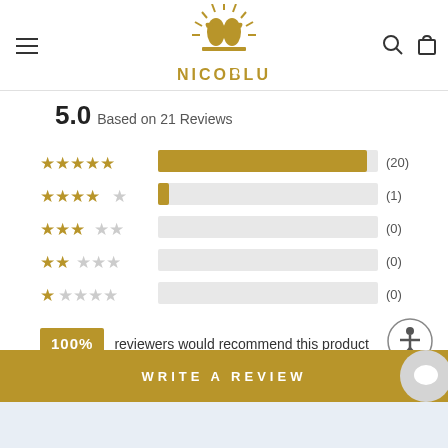[Figure (logo): NicoBlu brand logo with golden sun/eagle emblem above the text NICOBLU in gold letters]
5.0 Based on 21 Reviews
[Figure (bar-chart): Star rating distribution]
100% reviewers would recommend this product
WRITE A REVIEW